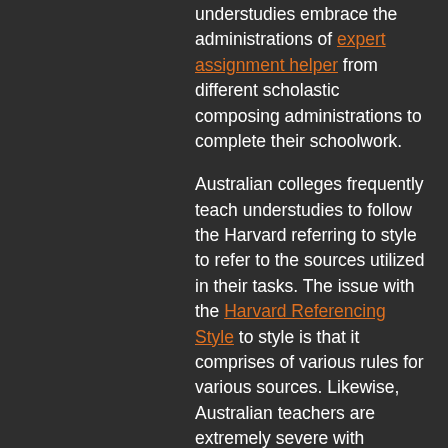understudies embrace the administrations of expert assignment helper from different scholastic composing administrations to complete their schoolwork.
Australian colleges frequently teach understudies to follow the Harvard referring to style to refer to the sources utilized in their tasks. The issue with the Harvard Referencing Style to style is that it comprises of various rules for various sources. Likewise, Australian teachers are extremely severe with regards to surveying the references in your tasks. You may wind up with a simple C-notwithstanding presenting an elegantly composed paper simply because of the absence of appropriate Harvard referring to.
Task composing administrations are the most ideal way you can finish your task with no pressure. At the point when you are recruiting Myessayhelp.co.uk, you don't simply get a